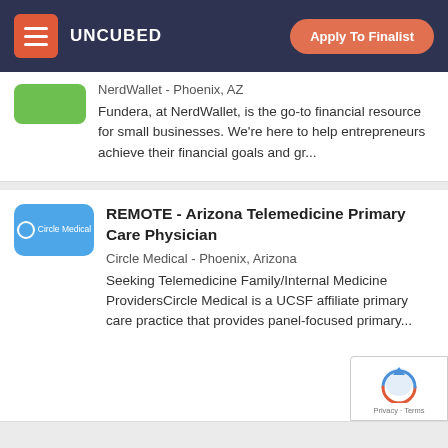UNCUBED | Apply To Finalist
NerdWallet - Phoenix, AZ
Fundera, at NerdWallet, is the go-to financial resource for small businesses. We're here to help entrepreneurs achieve their financial goals and gr...
REMOTE - Arizona Telemedicine Primary Care Physician
Circle Medical - Phoenix, Arizona
Seeking Telemedicine Family/Internal Medicine ProvidersCircle Medical is a UCSF affiliate primary care practice that provides panel-focused primary...